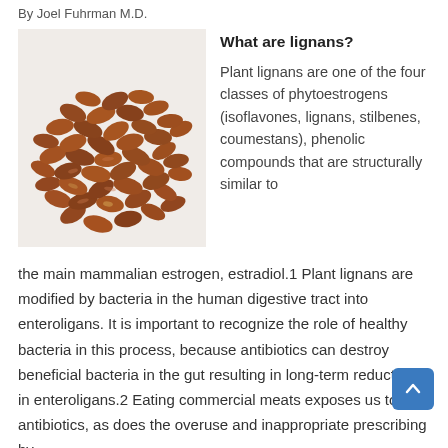By Joel Fuhrman M.D.
[Figure (photo): Close-up photograph of a pile of brown flax seeds on a white background.]
What are lignans?
Plant lignans are one of the four classes of phytoestrogens (isoflavones, lignans, stilbenes, coumestans), phenolic compounds that are structurally similar to the main mammalian estrogen, estradiol.1 Plant lignans are modified by bacteria in the human digestive tract into enteroligans. It is important to recognize the role of healthy bacteria in this process, because antibiotics can destroy beneficial bacteria in the gut resulting in long-term reduction in enteroligans.2 Eating commercial meats exposes us to antibiotics, as does the overuse and inappropriate prescribing by